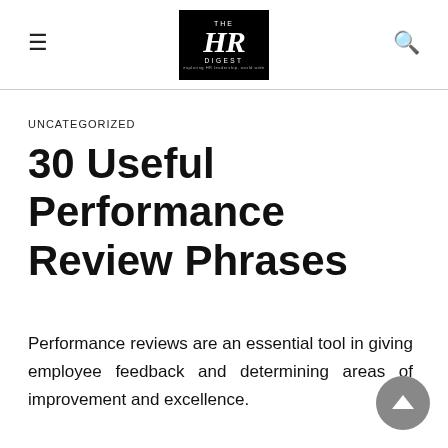THE HR DIGEST
UNCATEGORIZED
30 Useful Performance Review Phrases
Performance reviews are an essential tool in giving employee feedback and determining areas of improvement and excellence.